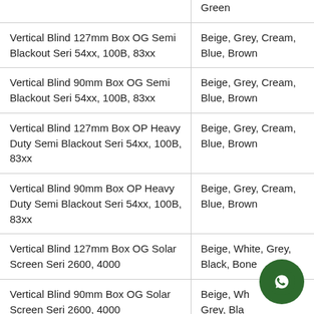| Product | Colors |
| --- | --- |
| (Green - partial row above) | Green |
| Vertical Blind 127mm Box OG Semi Blackout Seri 54xx, 100B, 83xx | Beige, Grey, Cream, Blue, Brown |
| Vertical Blind 90mm Box OG Semi Blackout Seri 54xx, 100B, 83xx | Beige, Grey, Cream, Blue, Brown |
| Vertical Blind 127mm Box OP Heavy Duty Semi Blackout Seri 54xx, 100B, 83xx | Beige, Grey, Cream, Blue, Brown |
| Vertical Blind 90mm Box OP Heavy Duty Semi Blackout Seri 54xx, 100B, 83xx | Beige, Grey, Cream, Blue, Brown |
| Vertical Blind 127mm Box OG Solar Screen Seri 2600, 4000 | Beige, White, Grey, Black, Bone |
| Vertical Blind 90mm Box OG Solar Screen Seri 2600, 4000 | Beige, White, Grey, Black, Bone |